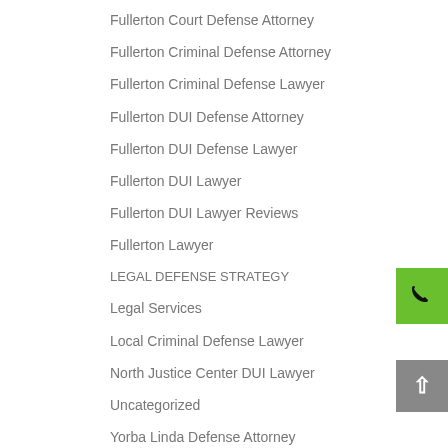Fullerton Court Defense Attorney
Fullerton Criminal Defense Attorney
Fullerton Criminal Defense Lawyer
Fullerton DUI Defense Attorney
Fullerton DUI Defense Lawyer
Fullerton DUI Lawyer
Fullerton DUI Lawyer Reviews
Fullerton Lawyer
LEGAL DEFENSE STRATEGY
Legal Services
Local Criminal Defense Lawyer
North Justice Center DUI Lawyer
Uncategorized
Yorba Linda Defense Attorney
Yorba Linda DUI Lawyer